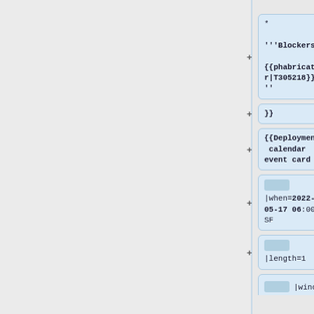* '''Blockers: {{phabricator|T305218}}'''
}}
{{Deployment calendar event card
|when=2022-05-17 06:00 SF
|length=1
|window=